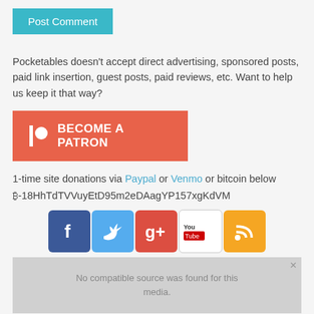Post Comment
Pocketables doesn't accept direct advertising, sponsored posts, paid link insertion, guest posts, paid reviews, etc. Want to help us keep it that way?
[Figure (other): Become a Patron button in orange-red with Patreon icon]
1-time site donations via Paypal or Venmo or bitcoin below ₿-18HhTdTVVuyEtD95m2eDAagYP157xgKdVM
[Figure (other): Social media icons: Facebook, Twitter, Google+, YouTube, RSS]
[Figure (other): Video player overlay with 'No compatible source was found for this media.']